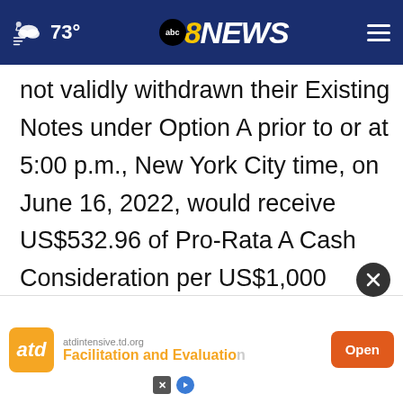73° | abc8NEWS
not validly withdrawn their Existing Notes under Option A prior to or at 5:00 p.m., New York City time, on June 16, 2022, would receive US$532.96 of Pro-Rata A Cash Consideration per US$1,000 principal amount of Existing Notes tendered under Option A. At the Expiration Date, the actual cash consideration to be received by each Eligible Holder whose Existing Notes are accepted in the Exchange Offer will be determined by the terms of the exchange offer participants...
[Figure (other): Advertisement overlay: atd logo with text 'atdintensive.td.org Facilitation and Evaluation' and an orange Open button]